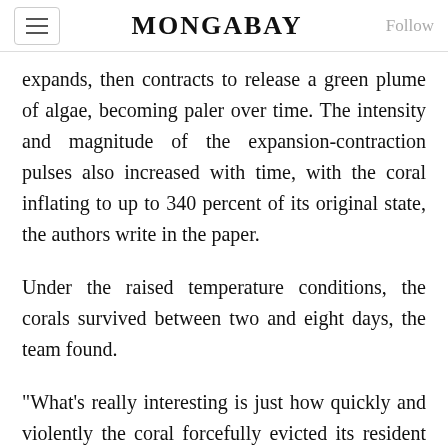MONGABAY
expands, then contracts to release a green plume of algae, becoming paler over time. The intensity and magnitude of the expansion-contraction pulses also increased with time, with the coral inflating to up to 340 percent of its original state, the authors write in the paper.
Under the raised temperature conditions, the corals survived between two and eight days, the team found.
"What's really interesting is just how quickly and violently the coral forcefully evicted its resident symbionts," Brett